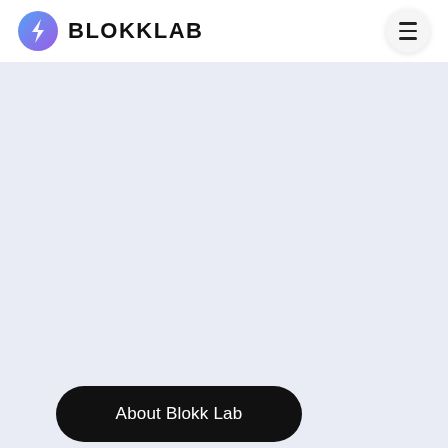BLOKKLAB
[Figure (logo): BlokkLab logo: circular gradient icon (blue to purple) with a lightning bolt / chain link symbol, followed by bold text BLOKKLAB]
About Blokk Lab